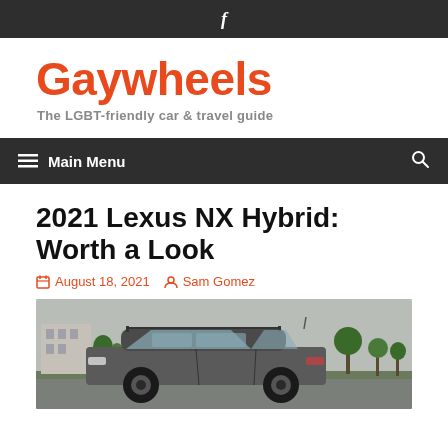f
Gaywheels
The LGBT-friendly car & travel guide
Main Menu
2021 Lexus NX Hybrid: Worth a Look
August 18, 2021   Sam Gomez
[Figure (photo): Photo of a 2021 Lexus NX Hybrid SUV with roof rack, parked outdoors with buildings and trees in background under overcast sky]